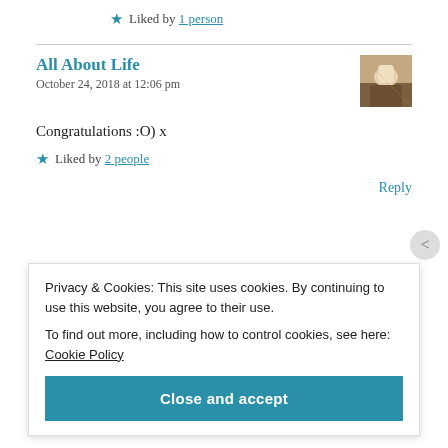★ Liked by 1 person
All About Life
October 24, 2018 at 12:06 pm
Congratulations :O) x
★ Liked by 2 people
Reply
Privacy & Cookies: This site uses cookies. By continuing to use this website, you agree to their use.
To find out more, including how to control cookies, see here: Cookie Policy
Close and accept